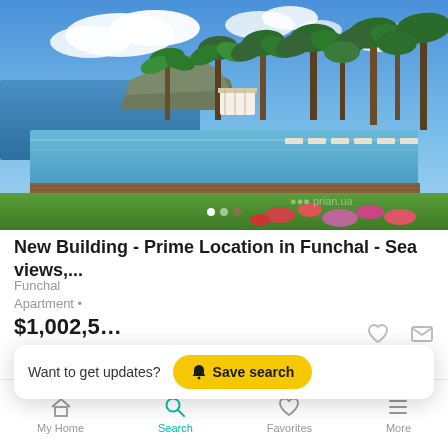[Figure (photo): Infinity pool overlooking ocean with palm trees, sun loungers, cliffs in background - luxury resort property photo]
New Building - Prime Location in Funchal - Sea views,...
Funchal
Apartment •
$1,002,5...
Want to get updates?  Save search
My Home  Search  Favorites  More